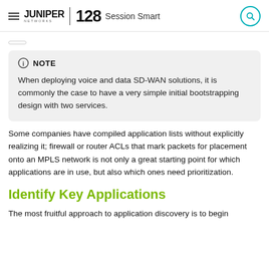Juniper Networks | 128 Session Smart
NOTE
When deploying voice and data SD-WAN solutions, it is commonly the case to have a very simple initial bootstrapping design with two services.
Some companies have compiled application lists without explicitly realizing it; firewall or router ACLs that mark packets for placement onto an MPLS network is not only a great starting point for which applications are in use, but also which ones need prioritization.
Identify Key Applications
The most fruitful approach to application discovery is to begin